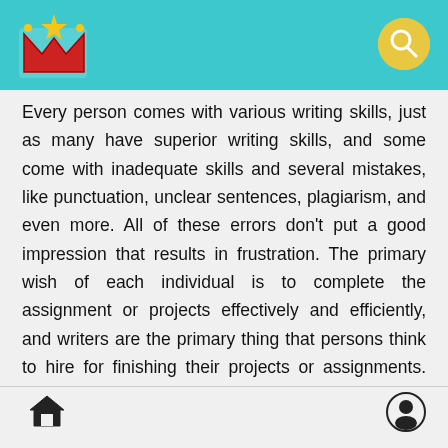Every person comes with various writing skills, just as many have superior writing skills, and some come with inadequate skills and several mistakes, like punctuation, unclear sentences, plagiarism, and even more. All of these errors don't put a good impression that results in frustration. The primary wish of each individual is to complete the assignment or projects effectively and efficiently, and writers are the primary thing that persons think to hire for finishing their projects or assignments. The whole marketplace is full of many writers who can assist to finish the writing tasks, nevertheless not all writers consist of the identical writing skills. Lots of people give top priority to a professional